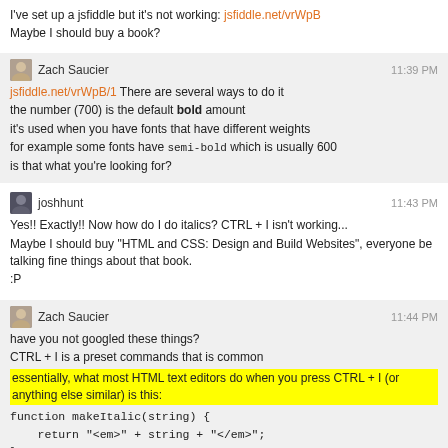I've set up a jsfiddle but it's not working: jsfiddle.net/vrWpB
Maybe I should buy a book?
Zach Saucier  11:39 PM
jsfiddle.net/vrWpB/1 There are several ways to do it
the number (700) is the default bold amount
it's used when you have fonts that have different weights
for example some fonts have semi-bold which is usually 600
is that what you're looking for?
joshhunt  11:43 PM
Yes!! Exactly!! Now how do I do italics? CTRL + I isn't working...
Maybe I should buy "HTML and CSS: Design and Build Websites", everyone be talking fine things about that book.
:P
Zach Saucier  11:44 PM
have you not googled these things?
CTRL + I is a preset commands that is common
essentially, what most HTML text editors do when you press CTRL + I (or anything else similar) is this:
function makeItalic(string) {
    return "<em>" + string + "</em>";
}
joshhunt  11:45 PM
Google? I thought Google was for finding pictures of cute kittens?